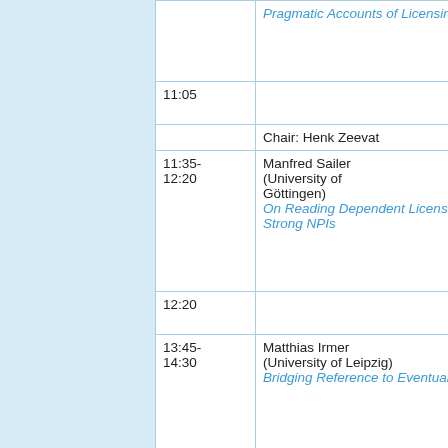| Time | Speaker/Info | Additional |
| --- | --- | --- |
|  | Pragmatic Accounts of Licensing |  |
| 11:05 |  |  |
|  | Chair: Henk Zeevat |  |
| 11:35-12:20 | Manfred Sailer (University of Göttingen)
On Reading Dependent Licensing of Strong NPIs |  |
| 12:20 |  |  |
| 13:45-14:30 | Matthias Irmer (University of Leipzig)
Bridging Reference to Eventualities |  |
|  | INVITED T |  |
| 14:35 | 52 97 51 |  |